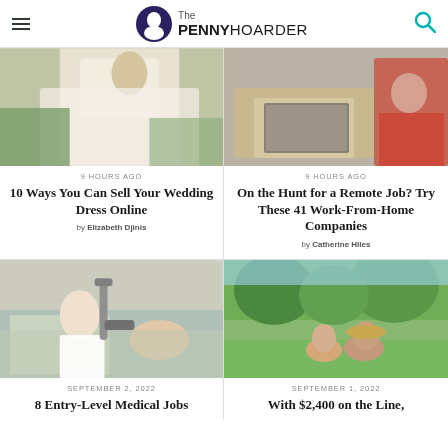The PENNY HOARDER
[Figure (photo): Bride in white wedding dress holding bouquet outdoors]
9 HOURS AGO
10 Ways You Can Sell Your Wedding Dress Online
by Elizabeth Djinis
[Figure (photo): Woman in red shirt working on laptop at desk]
9 HOURS AGO
On the Hunt for a Remote Job? Try These 41 Work-From-Home Companies
by Catherine Hiles
[Figure (photo): Doctor with stethoscope performing ultrasound on pregnant patient]
SEPTEMBER 2, 2022
8 Entry-Level Medical Jobs
[Figure (photo): Two women sitting in grass outdoors in nature]
SEPTEMBER 1, 2022
With $2,400 on the Line,